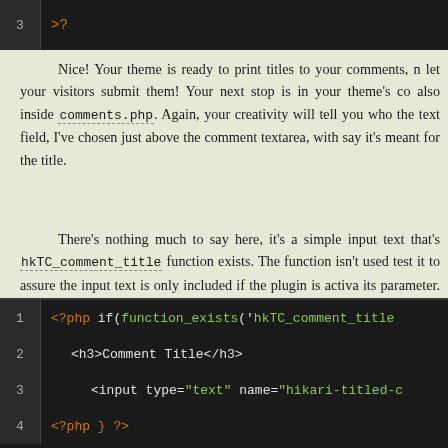?>
Nice! Your theme is ready to print titles to your comments, n let your visitors submit them! Your next stop is in your theme's co also inside comments.php. Again, your creativity will tell you who the text field, I've chosen just above the comment textarea, with say it's meant for the title.
There's nothing much to say here, it's a simple input text that's hkTC_comment_title function exists. The function isn't used test it to assure the input text is only included if the plugin is activa its parameter. Just make sure you don't change its 'name' and 'id' a
<?php if(function_exists('hkTC_comment_title
    <h3>Comment Title</h3>
        <input type="text" name="hikari-titled-c
<?php } ?>